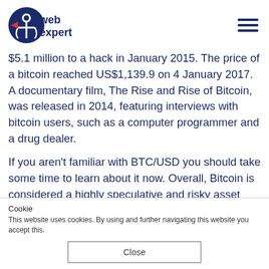web experts [logo] [hamburger menu]
$5.1 million to a hack in January 2015. The price of a bitcoin reached US$1,139.9 on 4 January 2017. A documentary film, The Rise and Rise of Bitcoin, was released in 2014, featuring interviews with bitcoin users, such as a computer programmer and a drug dealer.
If you aren't familiar with BTC/USD you should take some time to learn about it now. Overall, Bitcoin is considered a highly speculative and risky asset compared to conventional investments. While there is no guarantee you will
Cookie
This website uses cookies. By using and further navigating this website you accept this.
Close